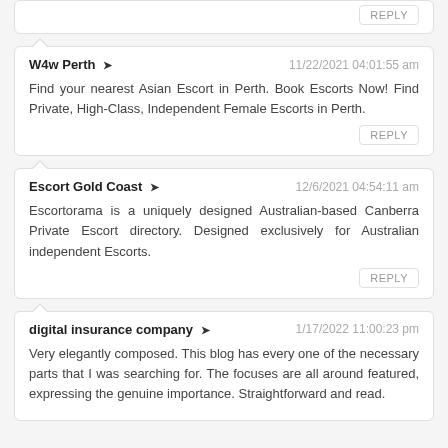REPLY
W4w Perth ➤  11/22/2021 04:01:55 am
Find your nearest Asian Escort in Perth. Book Escorts Now! Find Private, High-Class, Independent Female Escorts in Perth.
REPLY
Escort Gold Coast ➤  12/6/2021 04:54:11 am
Escortorama is a uniquely designed Australian-based Canberra Private Escort directory. Designed exclusively for Australian independent Escorts.
REPLY
digital insurance company ➤  1/17/2022 11:00:23 pm
Very elegantly composed. This blog has every one of the necessary parts that I was searching for. The focuses are all around featured, expressing the genuine importance. Straightforward and read.